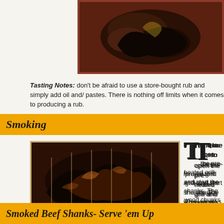[Figure (photo): Cooked/smoked dark meat on a red background, top portion of page]
Tasting Notes: don't be afraid to use a store-bought rub and simply add oil and/ pastes. There is nothing off limits when it comes to producing a rub.
Smoking
[Figure (photo): Close-up of smoked beef shanks with dark charred exterior on a wire rack]
Time to open the pre-heated grill and start the shanks. The wood chunks should be smoking at this point so add the shank pan to the unlit side of the grill and leave untouched for at least 40 minutes. Return to check the temperature. Flip the shanks and rotate the foil pan. meat registers 140-145° F.
Tasting Notes: select the hardwood you like or use a blend of hardwoods like I did with my shanks – maple, hick oak.
Smoked Beef Shanks- Serve 'em Up